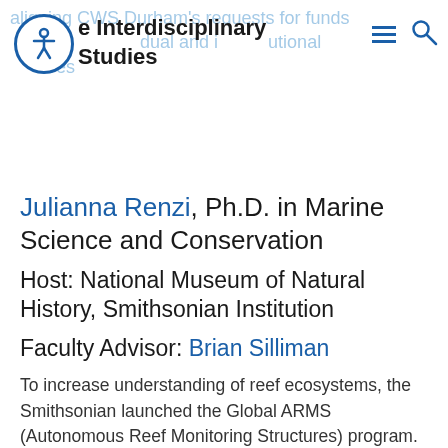aligning CWS Durham's requests for funds | e Interdisciplinary | dual and institutional | Studies
Julianna Renzi, Ph.D. in Marine Science and Conservation
Host: National Museum of Natural History, Smithsonian Institution
Faculty Advisor: Brian Silliman
To increase understanding of reef ecosystems, the Smithsonian launched the Global ARMS (Autonomous Reef Monitoring Structures) program. ARMS are stacks of PVC plates that have been deployed around the world to describe invertebrate diversity. This summer, Renzi will use data from ARMS in Mo'orea to determine the impacts of large-scale coral loss